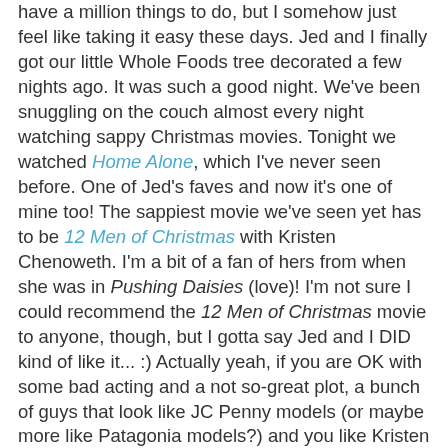have a million things to do, but I somehow just feel like taking it easy these days. Jed and I finally got our little Whole Foods tree decorated a few nights ago. It was such a good night. We've been snuggling on the couch almost every night watching sappy Christmas movies. Tonight we watched Home Alone, which I've never seen before. One of Jed's faves and now it's one of mine too! The sappiest movie we've seen yet has to be 12 Men of Christmas with Kristen Chenoweth. I'm a bit of a fan of hers from when she was in Pushing Daisies (love)! I'm not sure I could recommend the 12 Men of Christmas movie to anyone, though, but I gotta say Jed and I DID kind of like it... :) Actually yeah, if you are OK with some bad acting and a not so-great plot, a bunch of guys that look like JC Penny models (or maybe more like Patagonia models?) and you like Kristen Chenoweth, go watch it! Sometimes I like sappy girly movies with bad plots. But I've also been watching some of the good old classics. Here's a list of my favorite Christmas movies!
Holiday (1938)*
Love Affair (1939)*
Bachelor Mother (1939)*